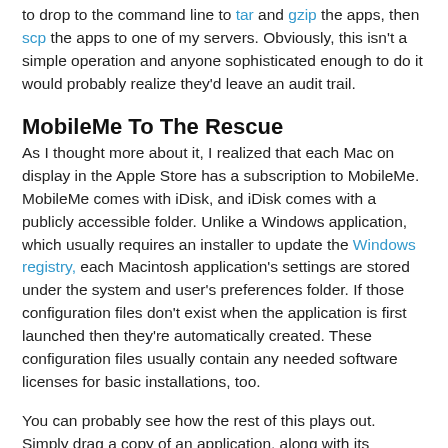to drop to the command line to tar and gzip the apps, then scp the apps to one of my servers. Obviously, this isn't a simple operation and anyone sophisticated enough to do it would probably realize they'd leave an audit trail.
MobileMe To The Rescue
As I thought more about it, I realized that each Mac on display in the Apple Store has a subscription to MobileMe. MobileMe comes with iDisk, and iDisk comes with a publicly accessible folder. Unlike a Windows application, which usually requires an installer to update the Windows registry, each Macintosh application's settings are stored under the system and user's preferences folder. If those configuration files don't exist when the application is first launched then they're automatically created. These configuration files usually contain any needed software licenses for basic installations, too.
You can probably see how the rest of this plays out. Simply drag a copy of an application, along with its preferences folders, to the iDisk's public folder and then access it from any other Mac. when you get home, and you now have a